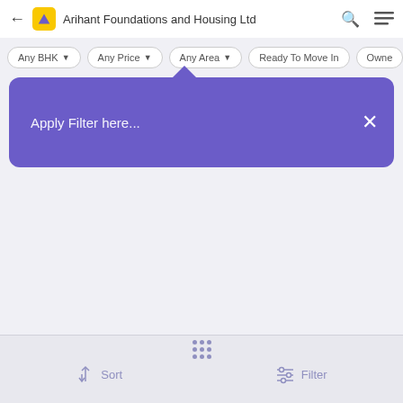Arihant Foundations and Housing Ltd
Any BHK  Any Price  Any Area  Ready To Move In  Owner
[Figure (screenshot): Purple tooltip popup with text 'Apply Filter here...' and a close X button]
Sort  Filter